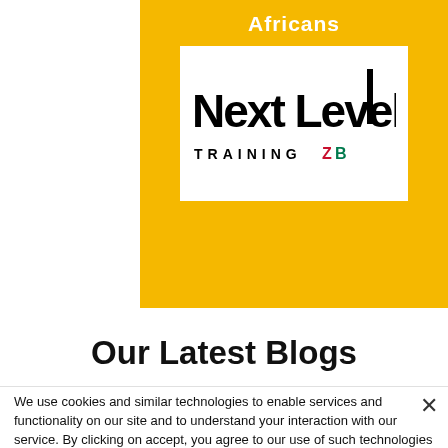[Figure (logo): Next Level Training ZB logo on yellow background with 'Africans' text above]
Our Latest Blogs
We use cookies and similar technologies to enable services and functionality on our site and to understand your interaction with our service. By clicking on accept, you agree to our use of such technologies for marketing and analytics. See Privacy Policy
Decline All
Accept
Cookie Settings